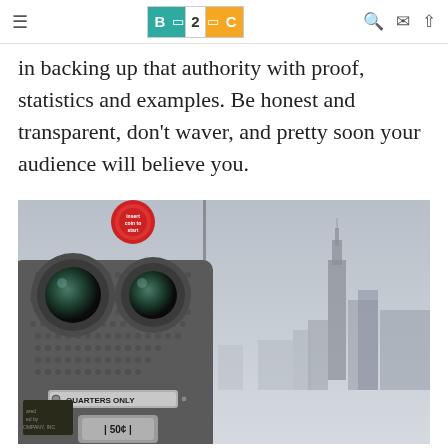B2C logo navigation bar with hamburger menu, search, mail, and up-arrow icons
in backing up that authority with proof, statistics and examples. Be honest and transparent, don't waver, and pretty soon your audience will believe you.
[Figure (photo): Close-up photograph of a coin-operated binoculars viewer (coin-operated tower viewer, 'QUARTERS ONLY', '50¢') with the New York City skyline including the Empire State Building visible in the hazy background.]